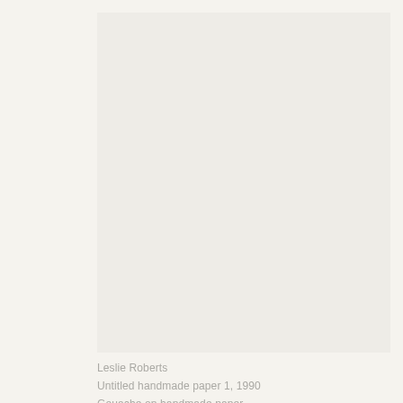Menu
[Figure (illustration): Large off-white/light grey rectangular artwork area representing an artwork display. The artwork itself appears nearly blank/very light.]
Leslie Roberts
Untitled handmade paper 1, 1990
Gouache on handmade paper